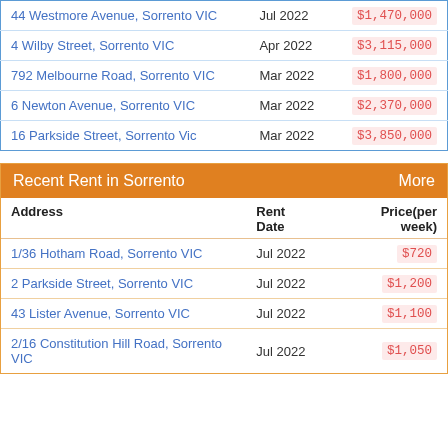| Address | Date | Price |
| --- | --- | --- |
| 44 Westmore Avenue, Sorrento VIC | Jul 2022 | $1,470,000 |
| 4 Wilby Street, Sorrento VIC | Apr 2022 | $3,115,000 |
| 792 Melbourne Road, Sorrento VIC | Mar 2022 | $1,800,000 |
| 6 Newton Avenue, Sorrento VIC | Mar 2022 | $2,370,000 |
| 16 Parkside Street, Sorrento Vic | Mar 2022 | $3,850,000 |
Recent Rent in Sorrento
| Address | Rent Date | Price(per week) |
| --- | --- | --- |
| 1/36 Hotham Road, Sorrento VIC | Jul 2022 | $720 |
| 2 Parkside Street, Sorrento VIC | Jul 2022 | $1,200 |
| 43 Lister Avenue, Sorrento VIC | Jul 2022 | $1,100 |
| 2/16 Constitution Hill Road, Sorrento VIC | Jul 2022 | $1,050 |